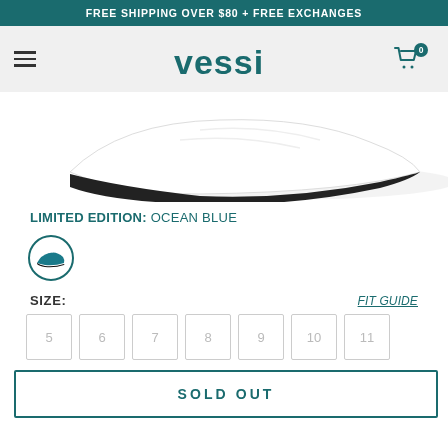FREE SHIPPING OVER $80 + FREE EXCHANGES
[Figure (logo): Vessi brand logo in teal color with hamburger menu and cart icon]
[Figure (photo): White sneaker shoe sole/bottom view showing black outsole against white background]
LIMITED EDITION: OCEAN BLUE
[Figure (photo): Ocean Blue color swatch circular icon showing a teal/blue sneaker]
SIZE:
FIT GUIDE
5  6  7  8  9  10  11
SOLD OUT